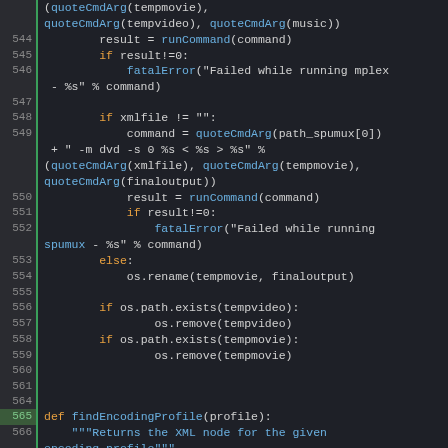[Figure (screenshot): Python source code editor showing lines 544-571 with syntax highlighting. Keywords in orange, function calls in blue, normal code in white/gray, comments in blue, line numbers in gray on dark background.]